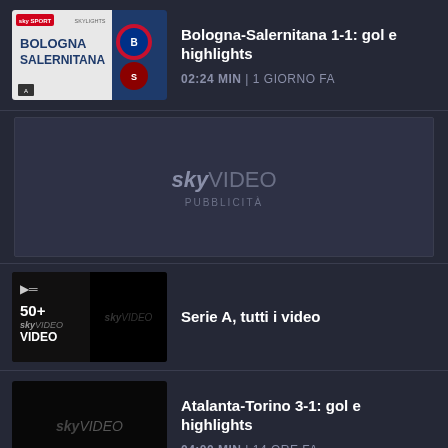[Figure (screenshot): Thumbnail for Bologna-Salernitana match highlights video showing team logos and match branding]
Bologna-Salernitana 1-1: gol e highlights
02:24 MIN | 1 GIORNO FA
[Figure (screenshot): Sky Video advertisement placeholder with logo and PUBBLICITÀ label]
[Figure (screenshot): Playlist thumbnail showing 50+ VIDEO for Serie A, tutti i video]
Serie A, tutti i video
[Figure (screenshot): Sky Video placeholder thumbnail black background for Atalanta-Torino highlights]
Atalanta-Torino 3-1: gol e highlights
04:00 MIN | 14 ORE FA
Sampdoria-Lazio 1-1: gol e highlights